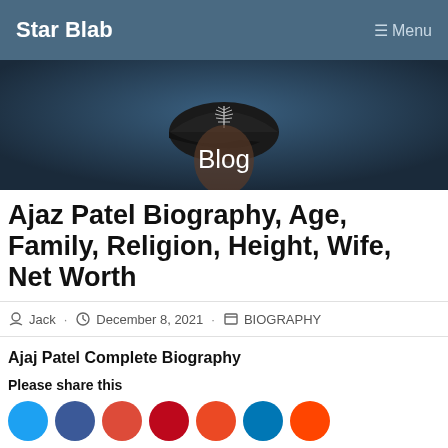Star Blab   ☰ Menu
[Figure (photo): Blog header image showing a person wearing a black cricket cap with a silver fern logo, with 'Blog' text overlay]
Ajaz Patel Biography, Age, Family, Religion, Height, Wife, Net Worth
Jack · December 8, 2021 · BIOGRAPHY
Ajaj Patel Complete Biography
Please share this